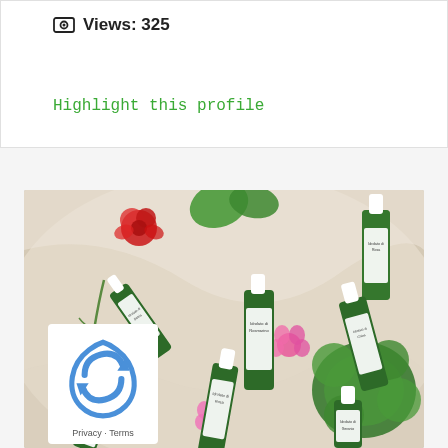Views: 325
Highlight this profile
[Figure (photo): Flat-lay product photo of multiple green spray bottles (hydrosol/floral water products labeled 'Idrolato di Salvia', 'Idrolato di Rosmarino', 'Idrolato di Rosa', 'Idrolato di Geranio', etc.) arranged on cream/white silk fabric with green leaves, red and pink flowers scattered around. Green pump-spray bottles with white labels and caps.]
Privacy · Terms